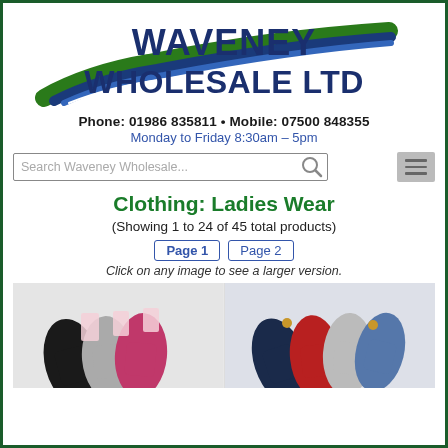[Figure (logo): Waveney Wholesale Ltd logo with road/river swoosh graphic in green and blue, with company name in dark blue bold text]
Phone: 01986 835811 • Mobile: 07500 848355
Monday to Friday 8:30am – 5pm
[Figure (screenshot): Search bar with placeholder text 'Search Waveney Wholesale...' and magnifying glass icon, plus hamburger menu icon to the right]
Clothing: Ladies Wear
(Showing 1 to 24 of 45 total products)
Page 1   Page 2
Click on any image to see a larger version.
[Figure (photo): Two product images showing ladies gloves: left image shows multiple coloured knit gloves (black, grey, pink/red) with tags; right image shows multiple coloured gloves (navy, red, grey, denim) fanned out]